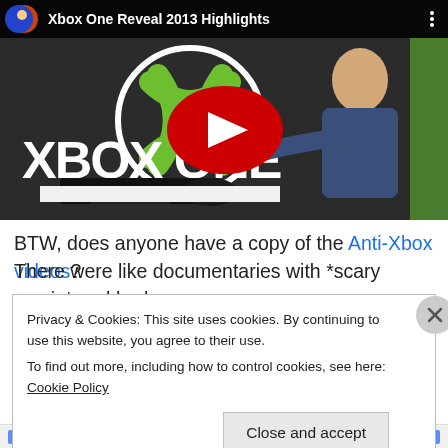[Figure (screenshot): YouTube video thumbnail for 'Xbox One Reveal 2013 Highlights' showing a man in a suit pointing to an Xbox One console with Xbox logo in the background, and a red YouTube play button overlay]
BTW, does anyone have a copy of the Anti-Xbox videos?
There were like documentaries with *scary music* and had
Privacy & Cookies: This site uses cookies. By continuing to use this website, you agree to their use.
To find out more, including how to control cookies, see here: Cookie Policy